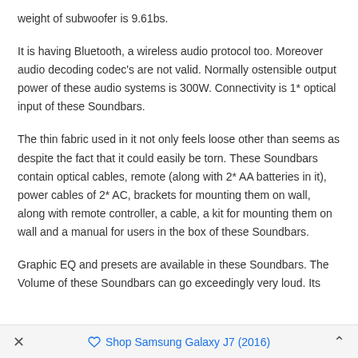weight of subwoofer is 9.61bs.
It is having Bluetooth, a wireless audio protocol too. Moreover audio decoding codec's are not valid. Normally ostensible output power of these audio systems is 300W. Connectivity is 1* optical input of these Soundbars.
The thin fabric used in it not only feels loose other than seems as despite the fact that it could easily be torn. These Soundbars contain optical cables, remote (along with 2* AA batteries in it), power cables of 2* AC, brackets for mounting them on wall, along with remote controller, a cable, a kit for mounting them on wall and a manual for users in the box of these Soundbars.
Graphic EQ and presets are available in these Soundbars. The Volume of these Soundbars can go exceedingly very loud. Its
✕   Shop Samsung Galaxy J7 (2016)   ∧